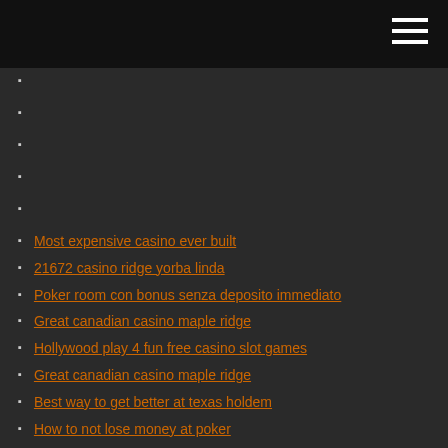Most expensive casino ever built
21672 casino ridge yorba linda
Poker room con bonus senza deposito immediato
Great canadian casino maple ridge
Hollywood play 4 fun free casino slot games
Great canadian casino maple ridge
Best way to get better at texas holdem
How to not lose money at poker
How to clean poker table speed cloth